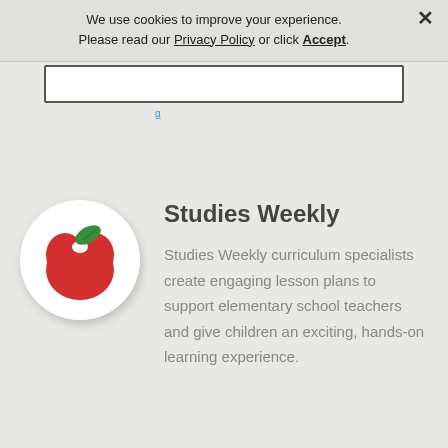We use cookies to improve your experience. Please read our Privacy Policy or click Accept.
[Figure (screenshot): Partial search box UI element with border, partially visible with a blue link below it]
[Figure (logo): Studies Weekly logo: a circular badge with white background showing a red apple with a green leaf on top]
Studies Weekly
Studies Weekly curriculum specialists create engaging lesson plans to support elementary school teachers and give children an exciting, hands-on learning experience.